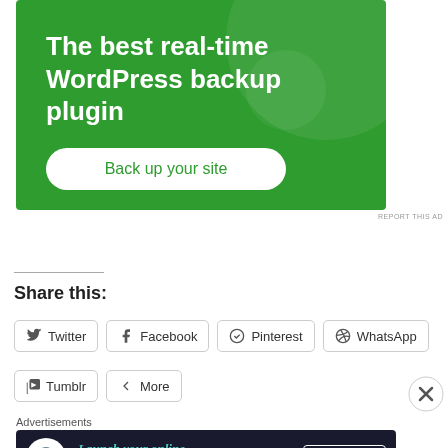[Figure (infographic): Green advertisement banner for WordPress backup plugin with heading 'The best real-time WordPress backup plugin' and a 'Back up your site' button]
REPORT THIS AD
Share this:
Twitter
Facebook
Pinterest
WhatsApp
Tumblr
More
[Figure (infographic): Dark advertisement banner: 'Launch your online course with WordPress' with 'Learn More' CTA]
Advertisements